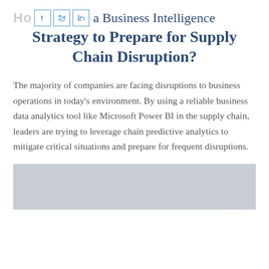How to Build a Business Intelligence Strategy to Prepare for Supply Chain Disruption?
a Business Intelligence Strategy to Prepare for Supply Chain Disruption?
The majority of companies are facing disruptions to business operations in today’s environment. By using a reliable business data analytics tool like Microsoft Power BI in the supply chain, leaders are trying to leverage chain predictive analytics to mitigate critical situations and prepare for frequent disruptions.
[Figure (photo): A gray placeholder image area at the bottom of the page.]